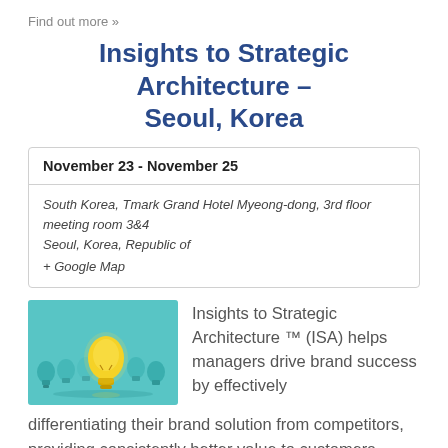Find out more »
Insights to Strategic Architecture – Seoul, Korea
| November 23 - November 25 |
| South Korea, Tmark Grand Hotel Myeong-dong, 3rd floor meeting room 3&4
Seoul, Korea, Republic of
+ Google Map |
[Figure (photo): Photo of light bulbs on a teal/blue background; one yellow lit bulb stands out among several unlit blue/teal bulbs.]
Insights to Strategic Architecture ™ (ISA) helps managers drive brand success by effectively differentiating their brand solution from competitors, providing consistently better value to customers.